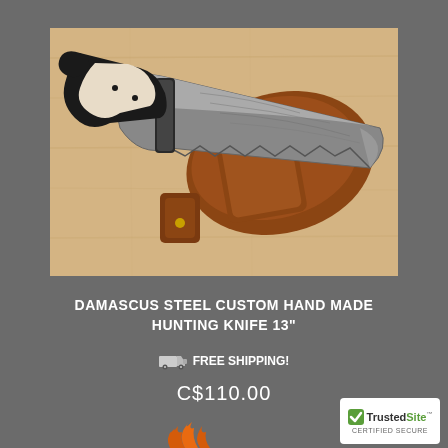[Figure (photo): Damascus steel custom handmade hunting knife 13 inches with a curved horn handle (black and white/cream), a serrated damascus steel blade, and a brown leather sheath with belt loop.]
DAMASCUS STEEL CUSTOM HAND MADE HUNTING KNIFE 13"
🚚 FREE SHIPPING!
C$110.00
[Figure (logo): TrustedSite CERTIFIED SECURE logo — green checkmark badge with TrustedSite text and 'CERTIFIED SECURE' below.]